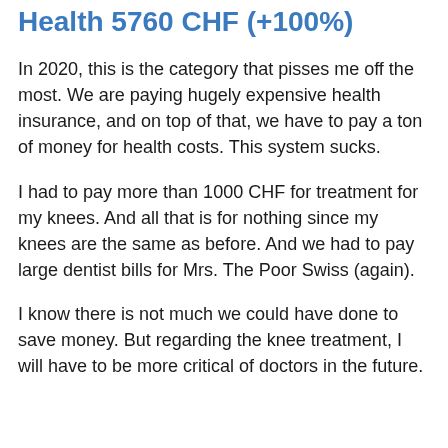Health 5760 CHF (+100%)
In 2020, this is the category that pisses me off the most. We are paying hugely expensive health insurance, and on top of that, we have to pay a ton of money for health costs. This system sucks.
I had to pay more than 1000 CHF for treatment for my knees. And all that is for nothing since my knees are the same as before. And we had to pay large dentist bills for Mrs. The Poor Swiss (again).
I know there is not much we could have done to save money. But regarding the knee treatment, I will have to be more critical of doctors in the future.